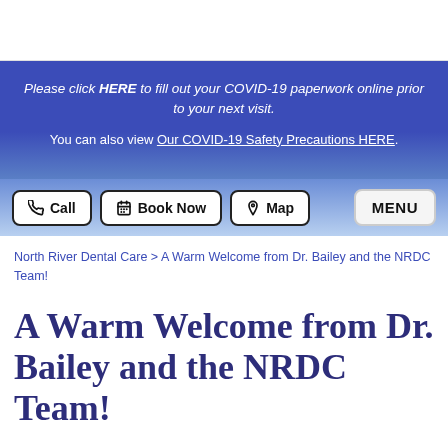Please click HERE to fill out your COVID-19 paperwork online prior to your next visit. You can also view Our COVID-19 Safety Precautions HERE.
Call  Book Now  Map  MENU
North River Dental Care > A Warm Welcome from Dr. Bailey and the NRDC Team!
A Warm Welcome from Dr. Bailey and the NRDC Team!